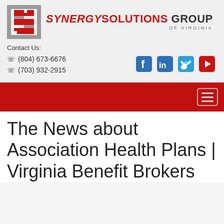[Figure (logo): Synergy Solutions Group of Virginia logo with stylized red and gray S mark]
Contact Us:
☎ (804) 673-6676
☎ (703) 932-2915
[Figure (infographic): Social media icons: Facebook, LinkedIn, Twitter, YouTube]
[Figure (infographic): Red navigation bar with hamburger menu button]
The News about Association Health Plans | Virginia Benefit Brokers